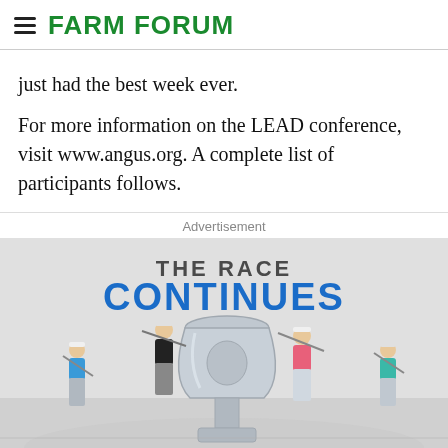FARM FORUM
just had the best week ever.
For more information on the LEAD conference, visit www.angus.org. A complete list of participants follows.
Advertisement
[Figure (photo): Advertisement banner for 'The Race Continues' featuring four golfers mid-swing around a large trophy, with blue bold text 'THE RACE CONTINUES' on a light background.]